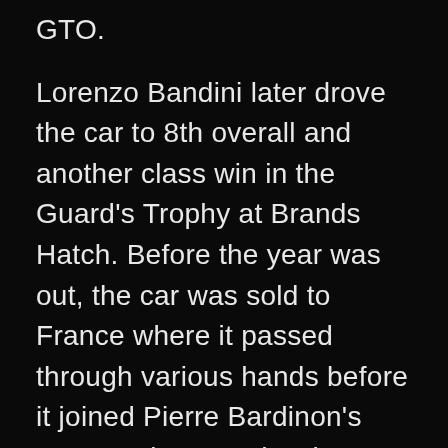GTO.
Lorenzo Bandini later drove the car to 8th overall and another class win in the Guard's Trophy at Brands Hatch. Before the year was out, the car was sold to France where it passed through various hands before it joined Pierre Bardinon's spectacular Mas du Clos Collection.
Some twenty years later, Bardinon sold the car and after spells in Japan and Austria it was supplied to another great Ferrari collector, Sir Anthony Bamford by Talacrest. The current owner acquired the car in 2008 and once again